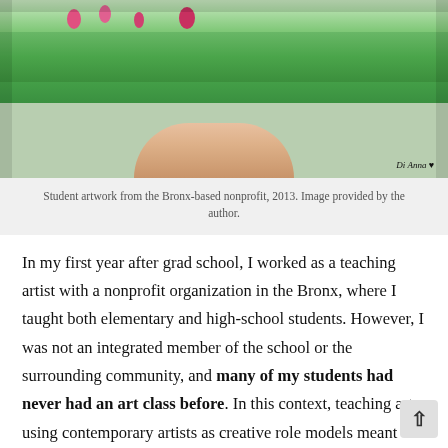[Figure (photo): Student artwork from a Bronx-based nonprofit, 2013. A child's colorful drawing of flowers and grass being held up by a hand. Signed 'Di Anna' with a heart.]
Student artwork from the Bronx-based nonprofit, 2013. Image provided by the author.
In my first year after grad school, I worked as a teaching artist with a nonprofit organization in the Bronx, where I taught both elementary and high-school students. However, I was not an integrated member of the school or the surrounding community, and many of my students had never had an art class before. In this context, teaching art using contemporary artists as creative role models meant starting with structured, skill-building activities and looking at artists like Laylah Ali, Cindy Sherman, Kehinde Wiley, and Chuck Close—artists whose work met students'